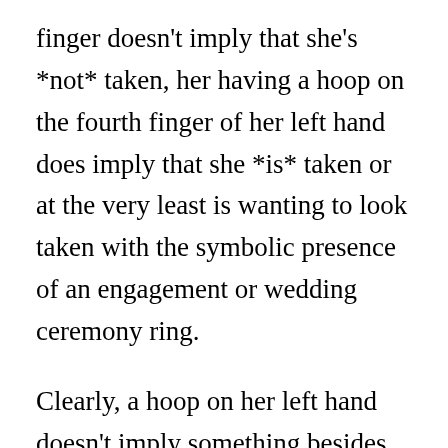finger doesn't imply that she's *not* taken, her having a hoop on the fourth finger of her left hand does imply that she *is* taken or at the very least is wanting to look taken with the symbolic presence of an engagement or wedding ceremony ring.
Clearly, a hoop on her left hand doesn't imply something besides that she likes jewellery. 😉
Additionally, take note of her physique language to inform whether or not or not she